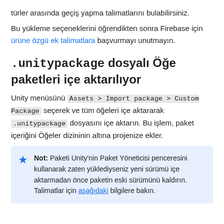türler arasında geçiş yapma talimatlarını bulabilirsiniz.
Bu yükleme seçeneklerini öğrendikten sonra Firebase için ürüne özgü ek talimatlara başvurmayı unutmayın.
.unitypackage dosyalı Öğe paketleri içe aktarılıyor
Unity menüsünü Assets > Import package > Custom Package seçerek ve tüm öğeleri içe aktararak .unitypackage dosyasını içe aktarın. Bu işlem, paket içeriğini Öğeler dizininin altına projenize ekler.
Not: Paketi Unity'nin Paket Yöneticisi penceresini kullanarak zaten yüklediyseniz yeni sürümü içe aktarmadan önce paketin eski sürümünü kaldırın. Talimatlar için aşağıdaki bilgilere bakın.